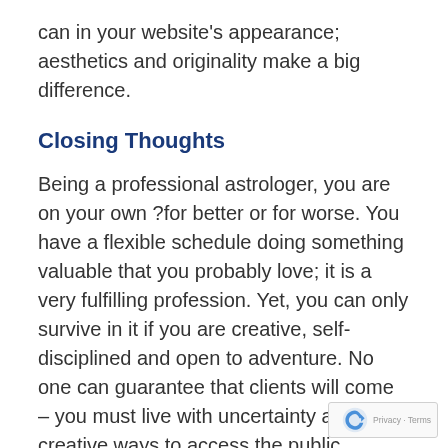can in your website's appearance; aesthetics and originality make a big difference.
Closing Thoughts
Being a professional astrologer, you are on your own ?for better or for worse. You have a flexible schedule doing something valuable that you probably love; it is a very fulfilling profession. Yet, you can only survive in it if you are creative, self-disciplined and open to adventure. No one can guarantee that clients will come – you must live with uncertainty and find creative ways to access the public. Sometimes, demand is high without effort,